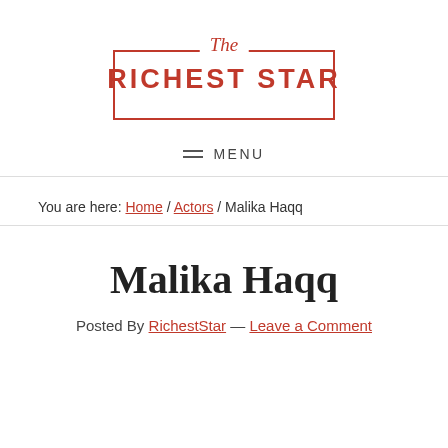[Figure (logo): The Richest Star logo with red border box, italic 'The' script above bold 'RICHEST STAR' text]
≡ MENU
You are here: Home / Actors / Malika Haqq
Malika Haqq
Posted By RichestStar — Leave a Comment